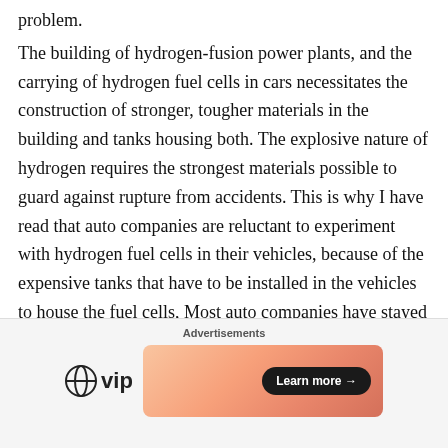problem.
The building of hydrogen-fusion power plants, and the carrying of hydrogen fuel cells in cars necessitates the construction of stronger, tougher materials in the building and tanks housing both. The explosive nature of hydrogen requires the strongest materials possible to guard against rupture from accidents. This is why I have read that auto companies are reluctant to experiment with hydrogen fuel cells in their vehicles, because of the expensive tanks that have to be installed in the vehicles to house the fuel cells, Most auto companies have stayed away from hydrogen fuel cells to power electric vehicles, except for two: Toyota
Advertisements
[Figure (other): Advertisement banner showing WordPress VIP logo on the left and a gradient orange/pink banner with 'Learn more →' button on the right]